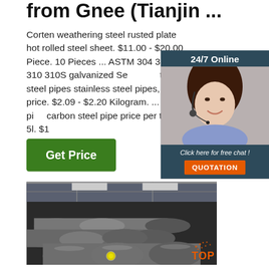from Gnee (Tianjin ...
Corten weathering steel rusted plate hot rolled steel sheet. $11.00 - $20.00 Piece. 10 Pieces ... ASTM 304 316 310 310S galvanized Se... tube steel pipes stainless steel pipes, ste... price. $2.09 - $2.20 Kilogram. ... steel pi... carbon steel pipe price per ton api 5l. $1... ...
[Figure (screenshot): Green 'Get Price' button]
[Figure (infographic): 24/7 online chat widget with female agent wearing headset, dark blue background, 'Click here for free chat!' text, and orange QUOTATION button]
[Figure (photo): Industrial steel pipes stacked in a warehouse, dark factory background, with TOP watermark in orange at bottom right]